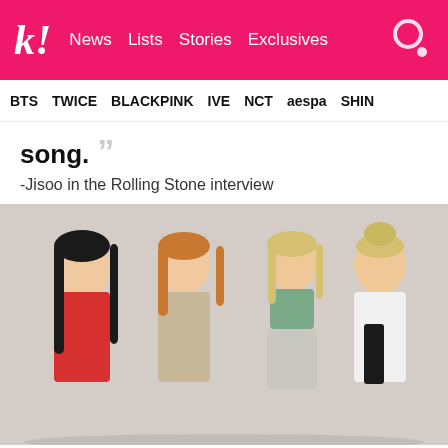k! News Lists Stories Exclusives
BTS TWICE BLACKPINK IVE NCT aespa SHINE
song. ””
-Jisoo in the Rolling Stone interview
[Figure (photo): BLACKPINK group photo with four members posing against a light beige background. From left: member in red ribbed top with long black hair, member in beige corset dress with orange-blonde hair, member in green crop top with silver skirt and blonde hair, member in white top and black outfit with blonde updo hair.]